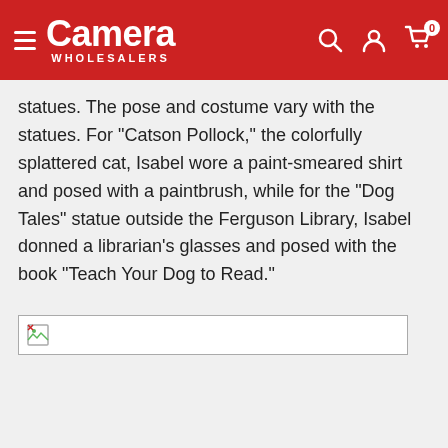Camera WHOLESALERS
statues. The pose and costume vary with the statues. For "Catson Pollock," the colorfully splattered cat, Isabel wore a paint-smeared shirt and posed with a paintbrush, while for the "Dog Tales" statue outside the Ferguson Library, Isabel donned a librarian's glasses and posed with the book "Teach Your Dog to Read."
[Figure (photo): Broken image placeholder]